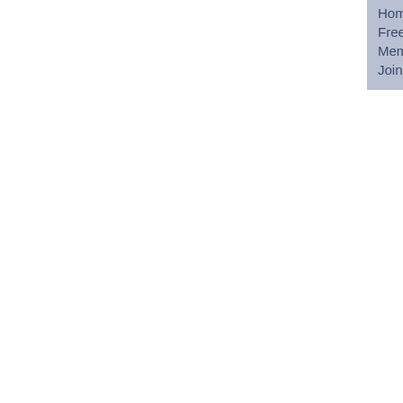Home  What's New?  About  Free Resources  Groups  Members Only  Site Map  Contact  Join us
are pleased that he concurs with most of our recommendations. We agree with him that implementation of our recommendations will be difficult. The main barrier to